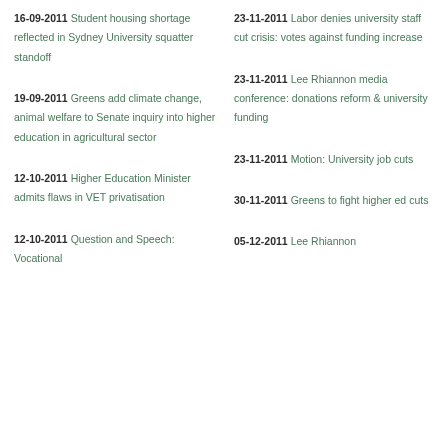16-09-2011 Student housing shortage reflected in Sydney University squatter standoff
23-11-2011 Labor denies university staff cut crisis: votes against funding increase
19-09-2011 Greens add climate change, animal welfare to Senate inquiry into higher education in agricultural sector
23-11-2011 Lee Rhiannon media conference: donations reform & university funding
12-10-2011 Higher Education Minister admits flaws in VET privatisation
23-11-2011 Motion: University job cuts
12-10-2011 Question and Speech: Vocational
30-11-2011 Greens to fight higher ed cuts
05-12-2011 Lee Rhiannon